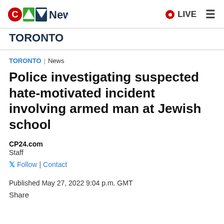CTV News | LIVE
TORONTO
TORONTO | News
Police investigating suspected hate-motivated incident involving armed man at Jewish school
CP24.com
Staff
Follow | Contact
Published May 27, 2022 9:04 p.m. GMT
Share